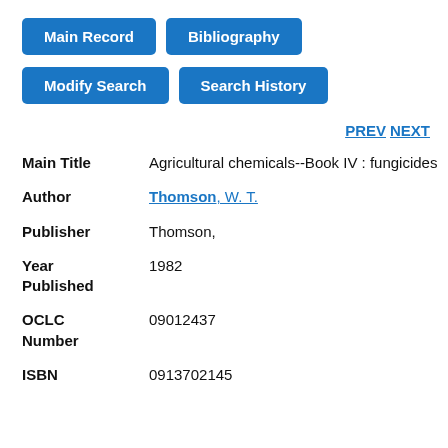[Figure (screenshot): Blue button labeled 'Main Record']
[Figure (screenshot): Blue button labeled 'Bibliography']
[Figure (screenshot): Blue button labeled 'Modify Search']
[Figure (screenshot): Blue button labeled 'Search History']
PREV NEXT
| Field | Value |
| --- | --- |
| Main Title | Agricultural chemicals--Book IV : fungicides |
| Author | Thomson, W. T. |
| Publisher | Thomson, |
| Year Published | 1982 |
| OCLC Number | 09012437 |
| ISBN | 0913702145 |